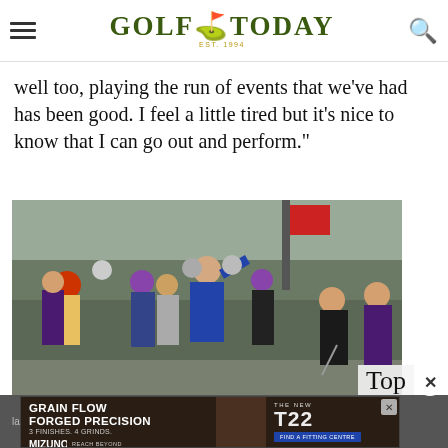GOLF TODAY
well too, playing the run of events that we've had has been good. I feel a little tired but it's nice to know that I can go out and perform."
[Figure (photo): Golf tournament scene with spectators watching a golfer hit a shot, caddies in purple bibs, crowd in background]
Top
lan
[Figure (advertisement): Mizuno T22 wedge advertisement - GRAIN FLOW FORGED PRECISION, 3 FINISHES. 4 GRINDS. THE NEW T22, FIND A FITTING CENTRE]